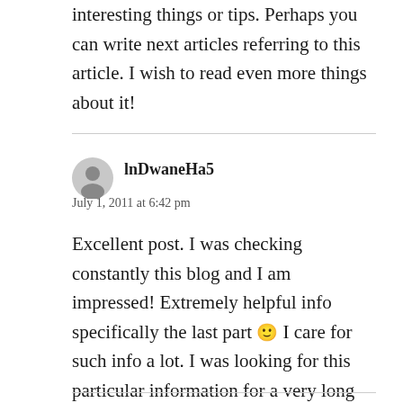interesting things or tips. Perhaps you can write next articles referring to this article. I wish to read even more things about it!
[Figure (illustration): Grey circular avatar/user icon placeholder]
lnDwaneHa5
July 1, 2011 at 6:42 pm
Excellent post. I was checking constantly this blog and I am impressed! Extremely helpful info specifically the last part 🙂 I care for such info a lot. I was looking for this particular information for a very long time. Thank you and best of luck.